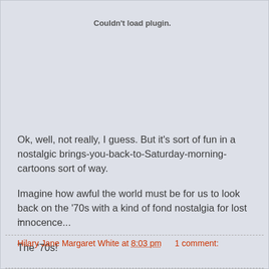Couldn't load plugin.
Ok, well, not really, I guess. But it's sort of fun in a nostalgic brings-you-back-to-Saturday-morning-cartoons sort of way.
Imagine how awful the world must be for us to look back on the '70s with a kind of fond nostalgia for lost innocence...
The ‘70s!
~
Hilary Jane Margaret White at 8:03 pm     1 comment: